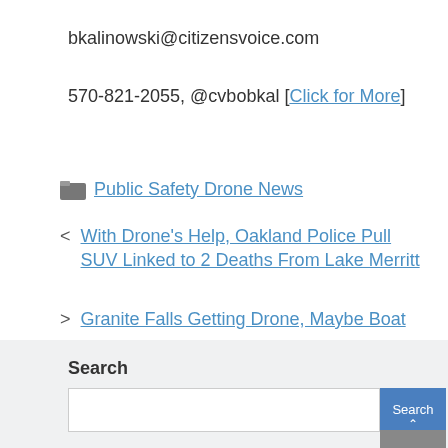bkalinowski@citizensvoice.com
570-821-2055, @cvbobkal [Click for More]
Public Safety Drone News
With Drone's Help, Oakland Police Pull SUV Linked to 2 Deaths From Lake Merritt
Granite Falls Getting Drone, Maybe Boat
Search